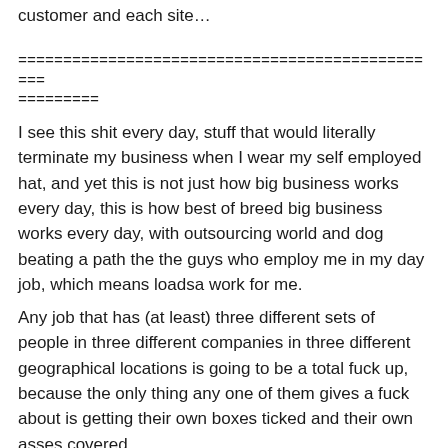customer and each site…
================================================
=========
I see this shit every day, stuff that would literally terminate my business when I wear my self employed hat, and yet this is not just how big business works every day, this is how best of breed big business works every day, with outsourcing world and dog beating a path the the guys who employ me in my day job, which means loadsa work for me.
Any job that has (at least) three different sets of people in three different companies in three different geographical locations is going to be a total fuck up, because the only thing any one of them gives a fuck about is getting their own boxes ticked and their own asses covered.